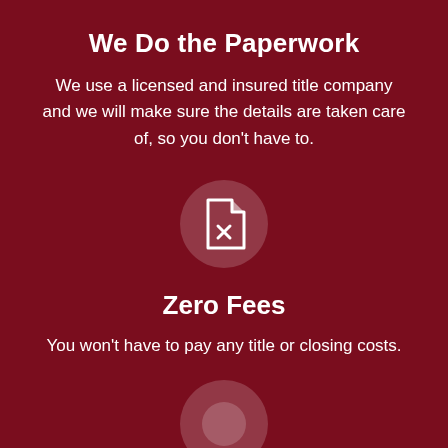We Do the Paperwork
We use a licensed and insured title company and we will make sure the details are taken care of, so you don't have to.
[Figure (illustration): Document/file icon with an X mark inside a circular grey background]
Zero Fees
You won't have to pay any title or closing costs.
[Figure (illustration): Partially visible circular icon at the bottom of the page]